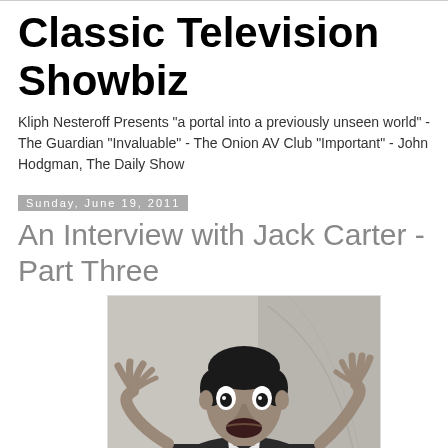Classic Television Showbiz
Kliph Nesteroff Presents "a portal into a previously unseen world" - The Guardian "Invaluable" - The Onion AV Club "Important" - John Hodgman, The Daily Show
Sunday, June 19, 2011
An Interview with Jack Carter - Part Three
[Figure (photo): Black and white photograph of a man (Jack Carter) with an exaggerated surprised/comedic expression, hands raised with fingers spread, wearing a suit and tie]